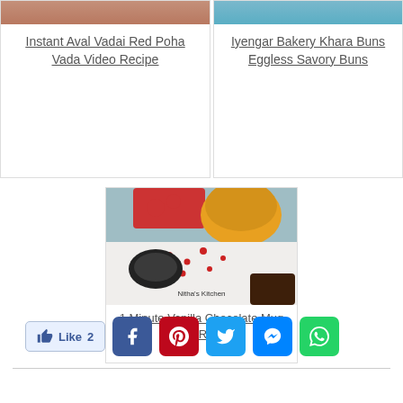[Figure (photo): Food image for Instant Aval Vadai Red Poha Vada recipe]
Instant Aval Vadai Red Poha Vada Video Recipe
[Figure (photo): Food image for Iyengar Bakery Khara Buns Eggless Savory Buns recipe]
Iyengar Bakery Khara Buns Eggless Savory Buns
[Figure (photo): Food image for 1 Minute Vanilla Chocolate Mug Cake Recipe, labeled Nitha's Kitchen]
1 Minute Vanilla Chocolate Mug Cake Recipe
[Figure (other): Social sharing bar with Like button and Facebook, Pinterest, Twitter, Messenger, WhatsApp icons]